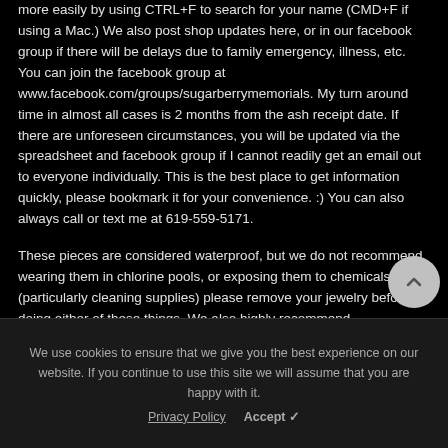more easily by using CTRL+F to search for your name (CMD+F if using a Mac.) We also post shop updates here, or in our facebook group if there will be delays due to family emergency, illness, etc. You can join the facebook group at www.facebook.com/groups/sugarberrymemorials. My turn around time in almost all cases is 2 months from the ash receipt date. If there are unforeseen circumstances, you will be updated via the spreadsheet and facebook group if I cannot readily get an email out to everyone individually. This is the best place to get information quickly, please bookmark it for your convenience. :) You can also always call or text me at 619-559-5171.
These pieces are considered waterproof, but we do not recommend wearing them in chlorine pools, or exposing them to chemicals (particularly cleaning supplies) please remove your jewelry before doing either of these things. We also highly recommend...
We use cookies to ensure that we give you the best experience on our website. If you continue to use this site we will assume that you are happy with it.